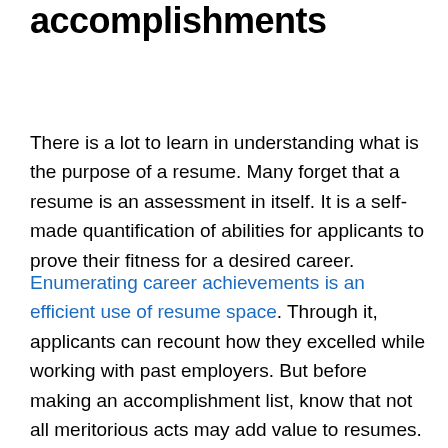accomplishments
There is a lot to learn in understanding what is the purpose of a resume. Many forget that a resume is an assessment in itself. It is a self-made quantification of abilities for applicants to prove their fitness for a desired career.
Enumerating career achievements is an efficient use of resume space. Through it, applicants can recount how they excelled while working with past employers. But before making an accomplishment list, know that not all meritorious acts may add value to resumes.